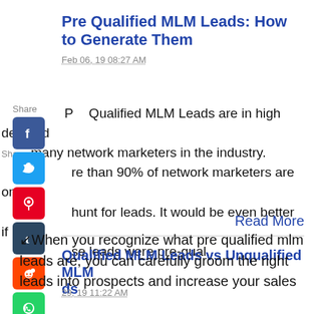Pre Qualified MLM Leads: How to Generate Them
Feb 06, 19 08:27 AM
Pre Qualified MLM Leads are in high demand by many network marketers in the industry. More than 90% of network marketers are on the hunt for leads. It would be even better if these leads were pre-qual...
Read More
[Figure (infographic): Social media share buttons sidebar: Facebook, Twitter, Pinterest, Tumblr, Reddit, WhatsApp, Messenger icons with Share label]
Qualified MLM Leads vs Unqualified MLM Leads
29, 19 11:22 AM
When you recognize what pre qualified mlm leads are, you can carefully groom the right leads into prospects and increase your sales